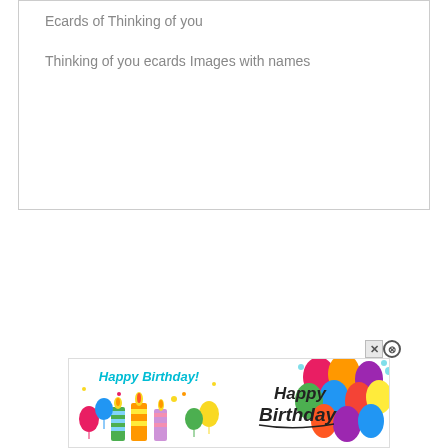Ecards of Thinking of you
Thinking of you ecards Images with names
[Figure (illustration): Advertisement banner showing two Happy Birthday cards side by side with balloons and candles, with close buttons (X and circle-X) in the top right corner of the ad.]